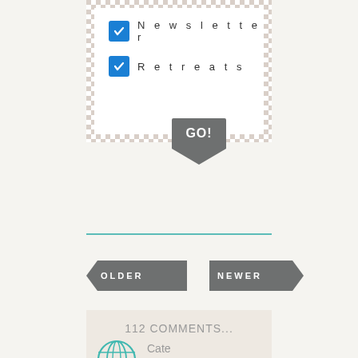[Figure (screenshot): Signup form box with checkered border containing two checked checkboxes: Newsletter and Retreats, with a GO! button below]
☑ Newsletter
☑ Retreats
GO!
OLDER
NEWER
112 COMMENTS...
Cate
August 8 2016
This was such a thorough and detailed post! You must have worked so hard on it. I'm for sure